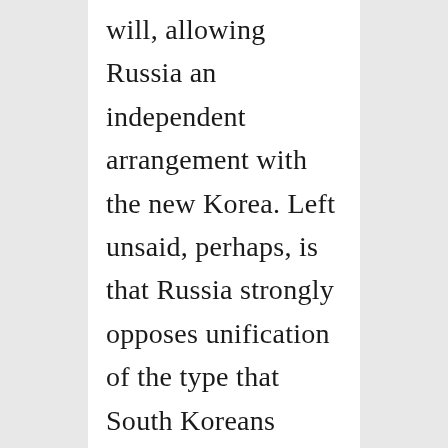will, allowing Russia an independent arrangement with the new Korea. Left unsaid, perhaps, is that Russia strongly opposes unification of the type that South Koreans envision. Russia's courting of North Korea is, in part, for the purpose of steering any moves toward unification onto a track favorable to its aims.